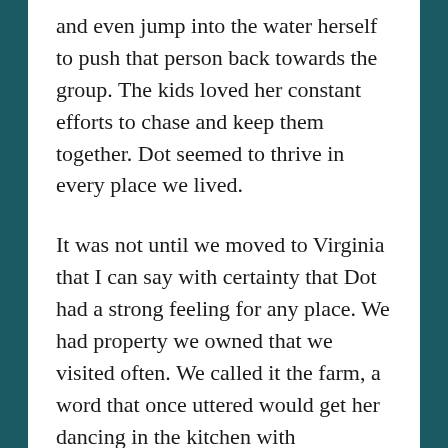and even jump into the water herself to push that person back towards the group. The kids loved her constant efforts to chase and keep them together. Dot seemed to thrive in every place we lived.
It was not until we moved to Virginia that I can say with certainty that Dot had a strong feeling for any place. We had property we owned that we visited often. We called it the farm, a word that once uttered would get her dancing in the kitchen with excitement. While there were no sheep to herd, Dot ran free across the grassy fields, running so hard she'd be limping on sore muscles when we returned from a visit. For an Australian Shepherd, this place was paradise. I can remember her sitting